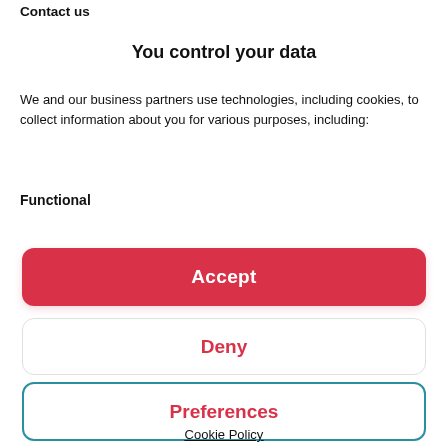Contact us
You control your data
We and our business partners use technologies, including cookies, to collect information about you for various purposes, including:
Functional
Accept
Deny
Preferences
Cookie Policy